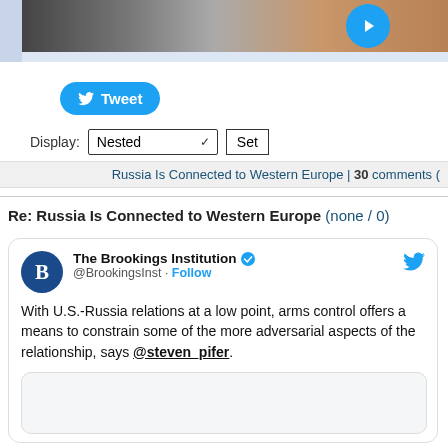[Figure (screenshot): Top image strip showing a partial photo of people with a blue Twitter play button circle overlay]
[Figure (screenshot): Blue Twitter Tweet button with bird logo]
Display: Nested ▾ Set
Russia Is Connected to Western Europe | 30 comments (
Re: Russia Is Connected to Western Europe (none / 0)
[Figure (screenshot): Embedded tweet from The Brookings Institution (@BrookingsInst): With U.S.-Russia relations at a low point, arms control offers a means to constrain some of the more adversarial aspects of the relationship, says @steven_pifer. Includes a nested inner image/card.]